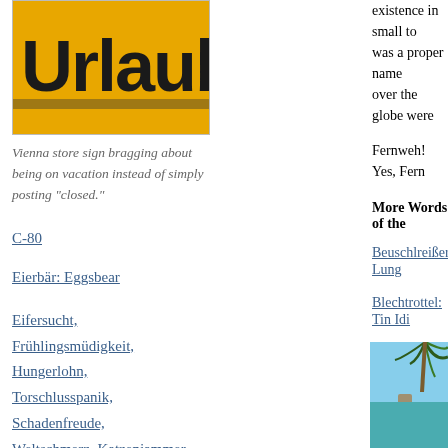[Figure (photo): Vienna store sign with text 'Urlaub' on yellow background]
Vienna store sign bragging about being on vacation instead of simply posting “closed.”
C-80
Eierbär: Eggsbear
Eifersucht, Frühlingsmüdigkeit, Hungerlohn, Torschlusspanik, Schadenfreude, Weltschmerz, Katzenjammer
existence in small to was a proper name over the globe were
Fernweh! Yes, Fern
More Words of the
Beuschlreißer: Lung
Blechtrottel: Tin Idi
[Figure (photo): Tropical beach scene with palm trees and calm water]